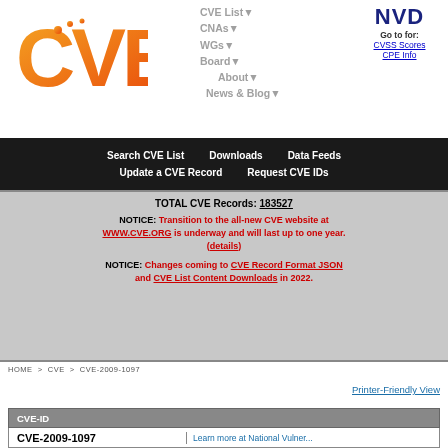[Figure (logo): CVE logo with orange gradient letters and NVD logo in dark blue]
CVE List▼  CNAs▼  WGs▼  Board▼  About▼  News & Blog▼  NVD Go to for: CVSS Scores  CPE Info
Search CVE List    Downloads    Data Feeds    Update a CVE Record    Request CVE IDs
TOTAL CVE Records: 183527
NOTICE: Transition to the all-new CVE website at WWW.CVE.ORG is underway and will last up to one year. (details)
NOTICE: Changes coming to CVE Record Format JSON and CVE List Content Downloads in 2022.
HOME > CVE > CVE-2009-1097
Printer-Friendly View
| CVE-ID |  |
| --- | --- |
| CVE-2009-1097 | Learn more at National Vulner... |